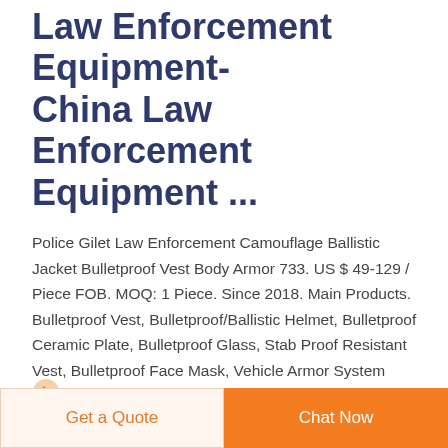Law Enforcement Equipment- China Law Enforcement Equipment ...
Police Gilet Law Enforcement Camouflage Ballistic Jacket Bulletproof Vest Body Armor 733. US $ 49-129 / Piece FOB. MOQ: 1 Piece. Since 2018. Main Products. Bulletproof Vest, Bulletproof/Ballistic Helmet, Bulletproof Ceramic Plate, Bulletproof Glass, Stab Proof Resistant Vest, Bulletproof Face Mask, Vehicle Armor System Products, Bulletproof ...
READ MORE
Get a Quote
Chat Now